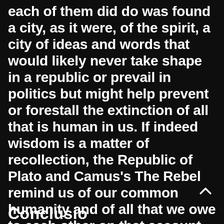each of them did do was found a city, as it were, of the spirit, a city of ideas and words that would likely never take shape in a republic or prevail in politics but might help prevent or forestall the extinction of all that is human in us. If indeed wisdom is a matter of recollection, the Republic of Plato and Camus's The Rebel remind us of our common humanity and of all that we owe to each other on that account.
Conclusio